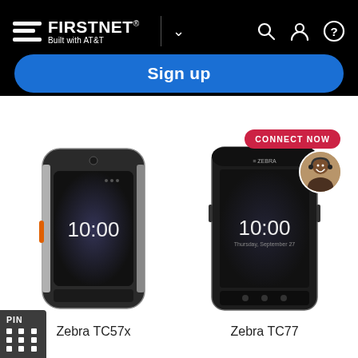[Figure (screenshot): FirstNet Built with AT&T website header with navigation bar on black background]
Sign up
CONNECT NOW
[Figure (photo): Zebra TC57x rugged smartphone device]
[Figure (photo): Zebra TC77 rugged smartphone device with customer service agent avatar]
Zebra TC57x
Zebra TC77
PIN